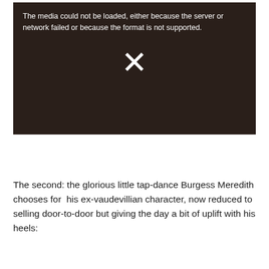[Figure (other): A video player showing a media load error. Dark brownish background with a faint silhouette of a person. White error text reads: 'The media could not be loaded, either because the server or network failed or because the format is not supported.' A white X symbol is centered in the player.]
The second: the glorious little tap-dance Burgess Meredith chooses for his ex-vaudevillian character, now reduced to selling door-to-door but giving the day a bit of uplift with his heels: